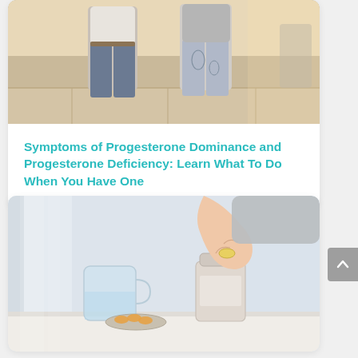[Figure (photo): Two women standing outdoors in jeans, photographed from waist down, one wearing embroidered jeans]
Symptoms of Progesterone Dominance and Progesterone Deficiency: Learn What To Do When You Have One
[Figure (photo): A hand holding a yellow pill/capsule over a glass of water and supplement bottle on a white surface, with omega-3 capsules in a small bowl nearby]